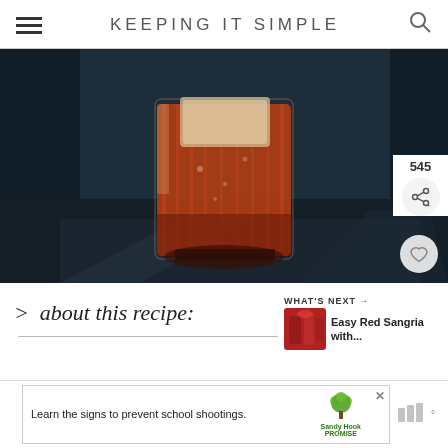KEEPING IT SIMPLE
[Figure (photo): A crystal rocks glass filled with dark amber/red cocktail and a large ice cube with an orange peel garnish, on a dark surface with dramatic lighting and shadows]
> about this recipe:
WHAT'S NEXT → Easy Red Sangria with...
[Figure (photo): Small thumbnail of Easy Red Sangria drink]
Learn the signs to prevent school shootings. Sandy Hook Promise